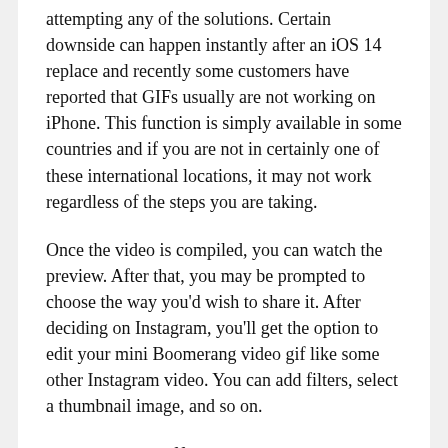attempting any of the solutions. Certain downside can happen instantly after an iOS 14 replace and recently some customers have reported that GIFs usually are not working on iPhone. This function is simply available in some countries and if you are not in certainly one of these international locations, it may not work regardless of the steps you are taking.
Once the video is compiled, you can watch the preview. After that, you may be prompted to choose the way you'd wish to share it. After deciding on Instagram, you'll get the option to edit your mini Boomerang video gif like some other Instagram video. You can add filters, select a thumbnail image, and so on.
Way 2: Flip Off #Photographs And On
However, if such thing occurs and your tremendous-cool GIF is frozen in your remark field, you should try to re-upload it. Facebook nonetheless doesn't allow uploading a GIF out of your pc or mobile devices. Also, posting GIFs in